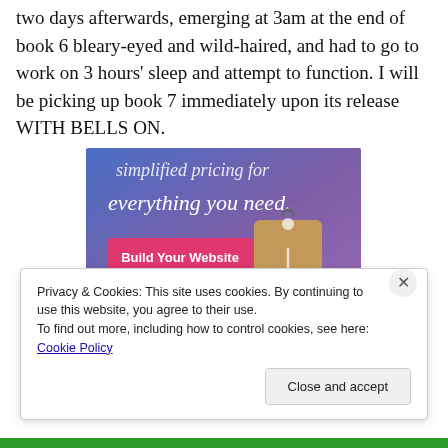two days afterwards, emerging at 3am at the end of book 6 bleary-eyed and wild-haired, and had to go to work on 3 hours' sleep and attempt to function. I will be picking up book 7 immediately upon its release WITH BELLS ON.
[Figure (screenshot): Advertisement banner with blue-purple gradient background, white serif italic text 'simplified pricing for everything you need.', a pink/magenta 'Build Your Website' button, and a tan/brown price tag graphic on the right.]
Privacy & Cookies: This site uses cookies. By continuing to use this website, you agree to their use.
To find out more, including how to control cookies, see here: Cookie Policy